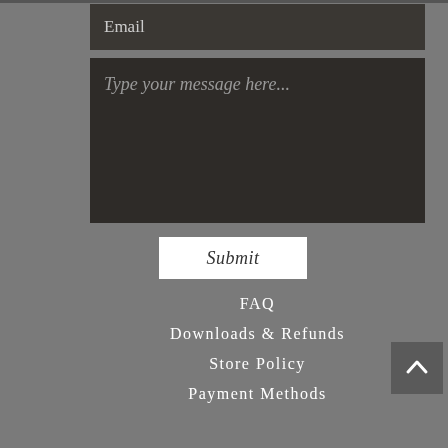Email
Type your message here...
Submit
FAQ
Downloads & Refunds
Store Policy
Payment Methods